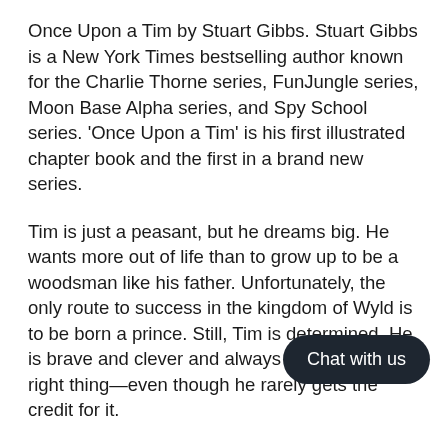Once Upon a Tim by Stuart Gibbs. Stuart Gibbs is a New York Times bestselling author known for the Charlie Thorne series, FunJungle series, Moon Base Alpha series, and Spy School series. 'Once Upon a Tim' is his first illustrated chapter book and the first in a brand new series.
Tim is just a peasant, but he dreams big. He wants more out of life than to grow up to be a woodsman like his father. Unfortunately, the only route to success in the kingdom of Wyld is to be born a prince. Still, Tim is determined. He is brave and clever and always tries to do the right thing—even though he rarely gets the credit for it.
Then news spreads that Princess C neighbouring kingdom has been abducted by an